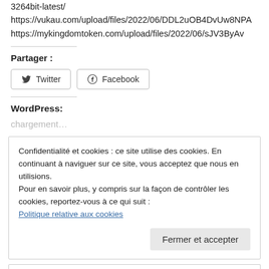3264bit-latest/
https://vukau.com/upload/files/2022/06/DDL2uOB4DvUw8NPA
https://mykingdomtoken.com/upload/files/2022/06/sJV3ByAv
Partager :
[Figure (screenshot): Twitter and Facebook share buttons]
WordPress:
chargement…
Confidentialité et cookies : ce site utilise des cookies. En continuant à naviguer sur ce site, vous acceptez que nous en utilisions.
Pour en savoir plus, y compris sur la façon de contrôler les cookies, reportez-vous à ce qui suit :
Politique relative aux cookies
Fermer et accepter